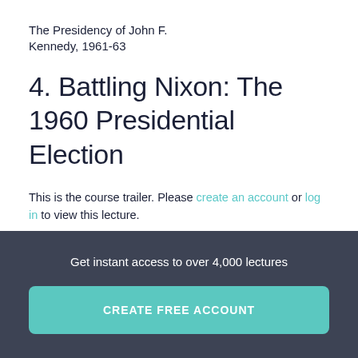The Presidency of John F. Kennedy, 1961-63
4. Battling Nixon: The 1960 Presidential Election
This is the course trailer. Please create an account or log in to view this lecture.
Get instant access to over 4,000 lectures
CREATE FREE ACCOUNT